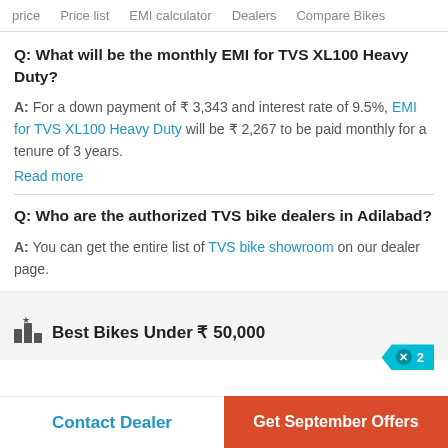price   Price list   EMI calculator   Dealers   Compare Bikes
Q: What will be the monthly EMI for TVS XL100 Heavy Duty?
A: For a down payment of ₹ 3,343 and interest rate of 9.5%, EMI for TVS XL100 Heavy Duty will be ₹ 2,267 to be paid monthly for a tenure of 3 years.
Read more
Q: Who are the authorized TVS bike dealers in Adilabad?
A: You can get the entire list of TVS bike showroom on our dealer page.
Best Bikes Under ₹ 50,000
Contact Dealer   Get September Offers